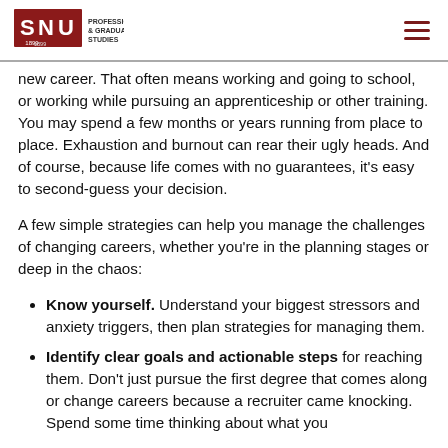SNU Professional & Graduate Studies
new career. That often means working and going to school, or working while pursuing an apprenticeship or other training. You may spend a few months or years running from place to place. Exhaustion and burnout can rear their ugly heads. And of course, because life comes with no guarantees, it's easy to second-guess your decision.
A few simple strategies can help you manage the challenges of changing careers, whether you're in the planning stages or deep in the chaos:
Know yourself. Understand your biggest stressors and anxiety triggers, then plan strategies for managing them.
Identify clear goals and actionable steps for reaching them. Don't just pursue the first degree that comes along or change careers because a recruiter came knocking. Spend some time thinking about what you